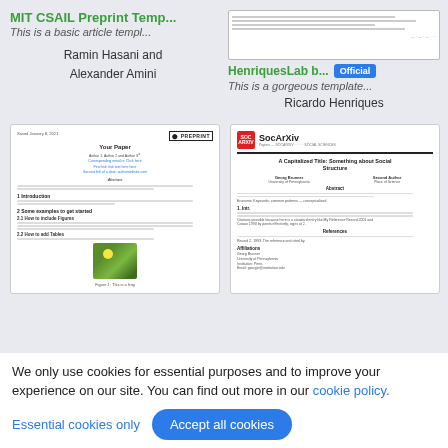MIT CSAIL Preprint Temp...
This is a basic article templ...
Ramin Hasani and
Alexander Amini
[Figure (screenshot): Small preview thumbnail of a document page]
HenriquesLab b... Official
This is a gorgeous template...
Ricardo Henriques
[Figure (screenshot): Preview of a preprint paper with frog image, showing title 'Your Paper', sections including Introduction and body text]
[Figure (screenshot): Preview of SocArXiv paper template showing title 'A Capitalized Title: Something about Social Structure', authors, abstract and references sections]
We only use cookies for essential purposes and to improve your experience on our site. You can find out more in our cookie policy.
Essential cookies only
Accept all cookies